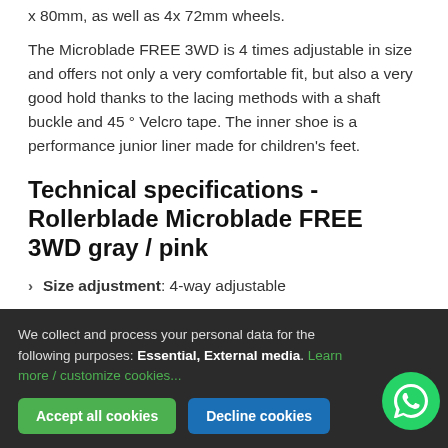x 80mm, as well as 4x 72mm wheels.
The Microblade FREE 3WD is 4 times adjustable in size and offers not only a very comfortable fit, but also a very good hold thanks to the lacing methods with a shaft buckle and 45 ° Velcro tape. The inner shoe is a performance junior liner made for children's feet.
Technical specifications - Rollerblade Microblade FREE 3WD gray / pink
Size adjustment: 4-way adjustable
Inner shoe: Performance Junior
Closure: Closure strap with ratchet buckle, Velcro, NO Laces
Wheels on the skate on delivery: 3x 76 mm
mountable wheel sizes: 3x 80mm | 4x 72mm
We collect and process your personal data for the following purposes: Essential, External media. Learn more / customize cookies...
Accept all cookies | Decline cookies